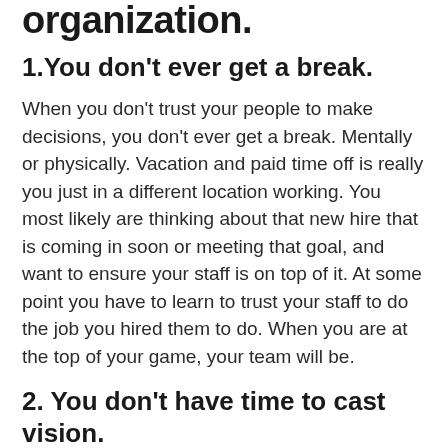organization.
1.You don't ever get a break.
When you don't trust your people to make decisions, you don't ever get a break. Mentally or physically. Vacation and paid time off is really you just in a different location working. You most likely are thinking about that new hire that is coming in soon or meeting that goal, and want to ensure your staff is on top of it. At some point you have to learn to trust your staff to do the job you hired them to do. When you are at the top of your game, your team will be.
2. You don't have time to cast vision.